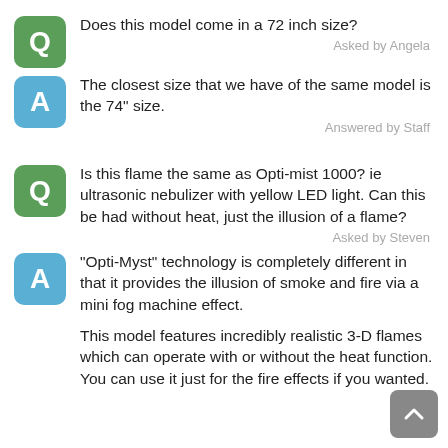Q Does this model come in a 72 inch size? Asked by Angela
A The closest size that we have of the same model is the 74" size. Answered by Staff
Q Is this flame the same as Opti-mist 1000? ie ultrasonic nebulizer with yellow LED light. Can this be had without heat, just the illusion of a flame? Asked by Steven
A "Opti-Myst" technology is completely different in that it provides the illusion of smoke and fire via a mini fog machine effect.
This model features incredibly realistic 3-D flames which can operate with or without the heat function. You can use it just for the fire effects if you wanted.